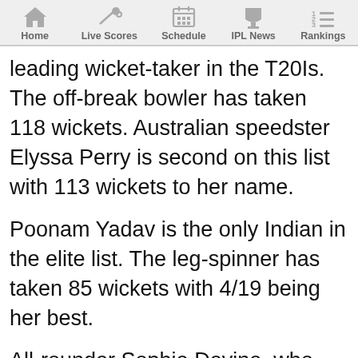Home | Live Scores | Schedule | IPL News | Rankings
leading wicket-taker in the T20Is. The off-break bowler has taken 118 wickets. Australian speedster Elyssa Perry is second on this list with 113 wickets to her name.
Poonam Yadav is the only Indian in the elite list. The leg-spinner has taken 85 wickets with 4/19 being her best.
All-rounder Sophie Devine, who sits at seventh place in most runs in T20Is, holds ninth position in the top wicket-takers list.